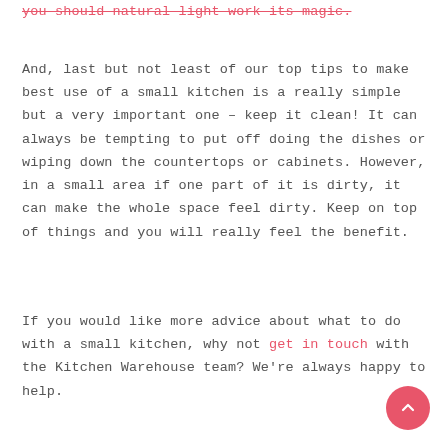you should natural light work its magic.
And, last but not least of our top tips to make best use of a small kitchen is a really simple but a very important one – keep it clean! It can always be tempting to put off doing the dishes or wiping down the countertops or cabinets. However, in a small area if one part of it is dirty, it can make the whole space feel dirty. Keep on top of things and you will really feel the benefit.
If you would like more advice about what to do with a small kitchen, why not get in touch with the Kitchen Warehouse team? We're always happy to help.